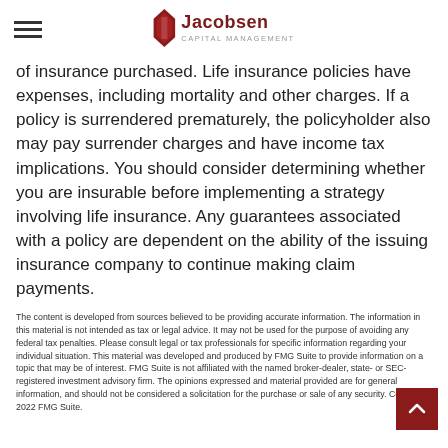Jacobsen Capital Management
of insurance purchased. Life insurance policies have expenses, including mortality and other charges. If a policy is surrendered prematurely, the policyholder also may pay surrender charges and have income tax implications. You should consider determining whether you are insurable before implementing a strategy involving life insurance. Any guarantees associated with a policy are dependent on the ability of the issuing insurance company to continue making claim payments.
The content is developed from sources believed to be providing accurate information. The information in this material is not intended as tax or legal advice. It may not be used for the purpose of avoiding any federal tax penalties. Please consult legal or tax professionals for specific information regarding your individual situation. This material was developed and produced by FMG Suite to provide information on a topic that may be of interest. FMG Suite is not affiliated with the named broker-dealer, state- or SEC-registered investment advisory firm. The opinions expressed and material provided are for general information, and should not be considered a solicitation for the purchase or sale of any security. Copyright 2022 FMG Suite.